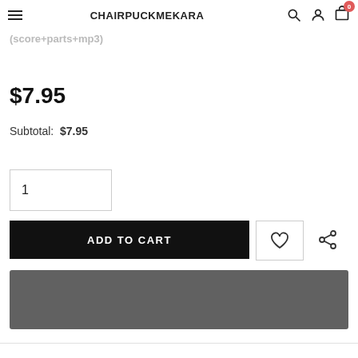CHAIRPUCKMEKARA
Duet Clarinet and Piano Sheet music:Liebesfeid (score+parts+mp3)
$7.95
Subtotal: $7.95
1
ADD TO CART